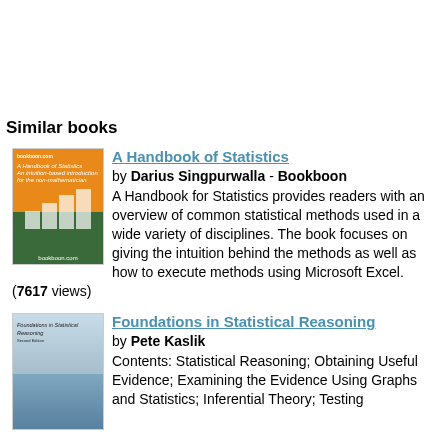Similar books
[Figure (illustration): Book cover of A Handbook of Statistics - orange top half with white bar chart and hand illustration, green bottom half, bookboon.com logo]
A Handbook of Statistics
by Darius Singpurwalla - Bookboon
A Handbook for Statistics provides readers with an overview of common statistical methods used in a wide variety of disciplines. The book focuses on giving the intuition behind the methods as well as how to execute methods using Microsoft Excel.
(7617 views)
[Figure (illustration): Book cover of Foundations in Statistical Reasoning - light blue sky and water background with italic title text]
Foundations in Statistical Reasoning
by Pete Kaslik
Contents: Statistical Reasoning; Obtaining Useful Evidence; Examining the Evidence Using Graphs and Statistics; Inferential Theory; Testing